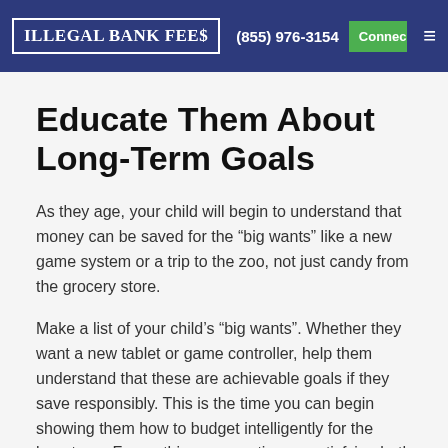Illegal Bank Fees  (855) 976-3154  Connect
Educate Them About Long-Term Goals
As they age, your child will begin to understand that money can be saved for the “big wants” like a new game system or a trip to the zoo, not just candy from the grocery store.
Make a list of your child’s “big wants”. Whether they want a new tablet or game controller, help them understand that these are achievable goals if they save responsibly. This is the time you can begin showing them how to budget intelligently for the long-term. Frame this conversation as satisfying both short- and long-